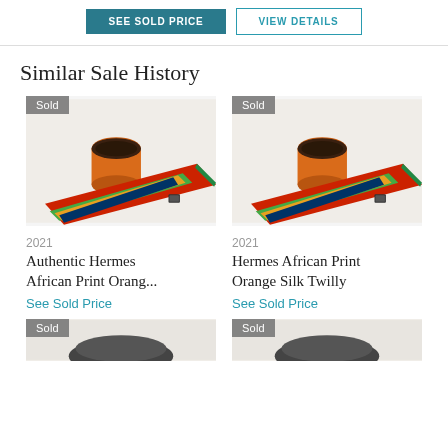SEE SOLD PRICE
VIEW DETAILS
Similar Sale History
[Figure (photo): Hermes African Print orange silk twilly scarf with orange box — sold item, left column]
[Figure (photo): Hermes African Print orange silk twilly scarf with orange box — sold item, right column]
2021
Authentic Hermes African Print Orang...
See Sold Price
2021
Hermes African Print Orange Silk Twilly
See Sold Price
[Figure (photo): Sold item bottom left — partially visible]
[Figure (photo): Sold item bottom right — partially visible]